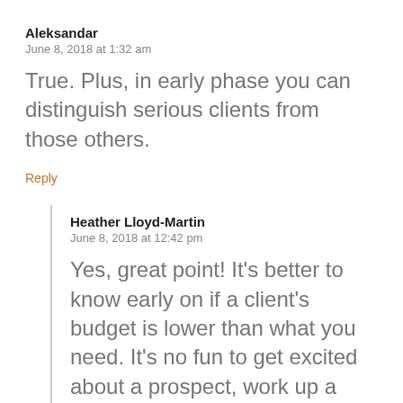Aleksandar
June 8, 2018 at 1:32 am
True. Plus, in early phase you can distinguish serious clients from those others.
Reply
Heather Lloyd-Martin
June 8, 2018 at 12:42 pm
Yes, great point! It’s better to know early on if a client’s budget is lower than what you need. It’s no fun to get excited about a prospect, work up a quote…and then realize you’re out of their budget.